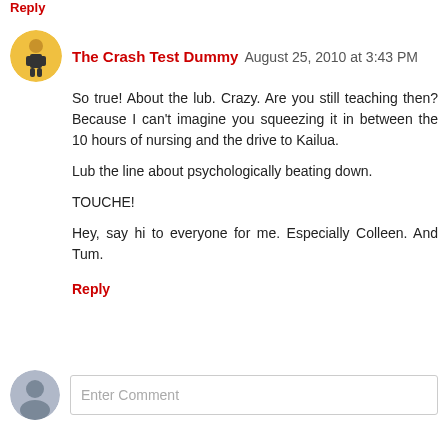The Crash Test Dummy August 25, 2010 at 3:43 PM
So true! About the lub. Crazy. Are you still teaching then? Because I can't imagine you squeezing it in between the 10 hours of nursing and the drive to Kailua.
Lub the line about psychologically beating down.
TOUCHE!
Hey, say hi to everyone for me. Especially Colleen. And Tum.
Reply
Enter Comment